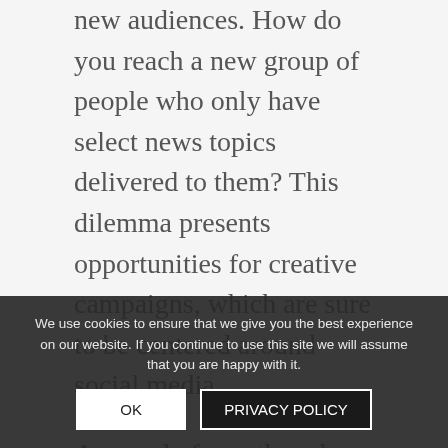new audiences. How do you reach a new group of people who only have select news topics delivered to them? This dilemma presents opportunities for creative campaigns, which are sure to be centered around social media.
As word of mouth and peer recommendations are such high influencers now, it's important that you are being talked about. If you, your company, or your clients are being left out of conversations in your field or industry, you will likely be forgotten.  Qualman notes that the real ROI of social media is that your business will still be in 5 years... yikes!
So with the rise of social media, I was So with th...
We use cookies to ensure that we give you the best experience on our website. If you continue to use this site we will assume that you are happy with it.